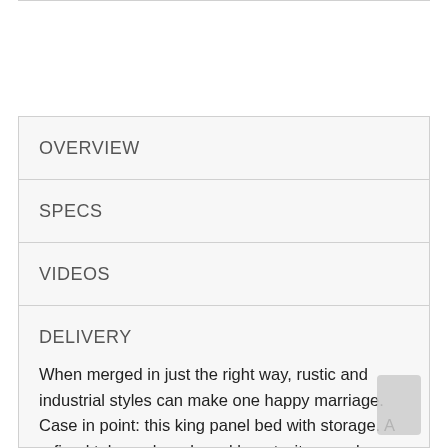OVERVIEW
SPECS
VIDEOS
DELIVERY
WARRANTY
When merged in just the right way, rustic and industrial styles can make one happy marriage. Case in point: this king panel bed with storage. A refined take on barn board beauty, its complex, replicated wood grain showcases hints…